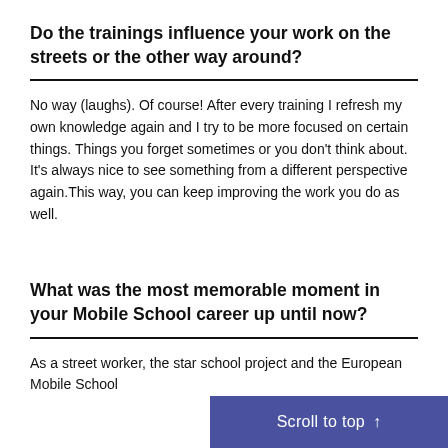Do the trainings influence your work on the streets or the other way around?
No way (laughs). Of course! After every training I refresh my own knowledge again and I try to be more focused on certain things. Things you forget sometimes or you don't think about. It's always nice to see something from a different perspective again.This way, you can keep improving the work you do as well.
What was the most memorable moment in your Mobile School career up until now?
As a street worker, the star school project and the European Mobile School